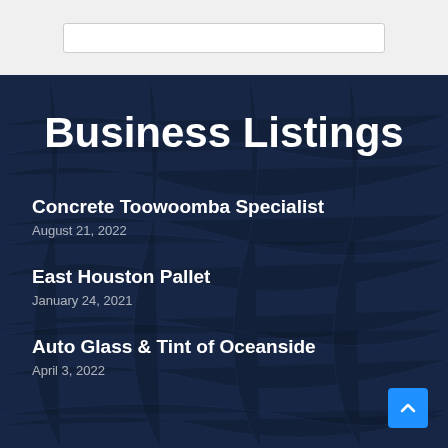Business Listings
Concrete Toowoomba Specialist
August 21, 2022
East Houston Pallet
January 24, 2021
Auto Glass & Tint of Oceanside
April 3, 2022